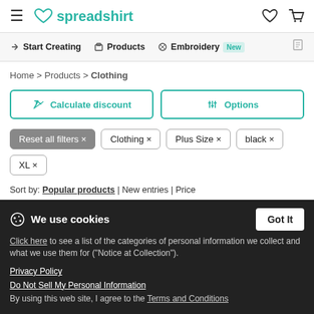spreadshirt
Start Creating | Products | Embroidery New
Home > Products > Clothing
Calculate discount | Options
Reset all filters × | Clothing × | Plus Size × | black × | XL ×
Sort by: Popular products | New entries | Price
We use cookies
Click here to see a list of the categories of personal information we collect and what we use them for ("Notice at Collection").
Privacy Policy
Do Not Sell My Personal Information
By using this web site, I agree to the Terms and Conditions
Men's Premium T-Shirt
Available for children, adults